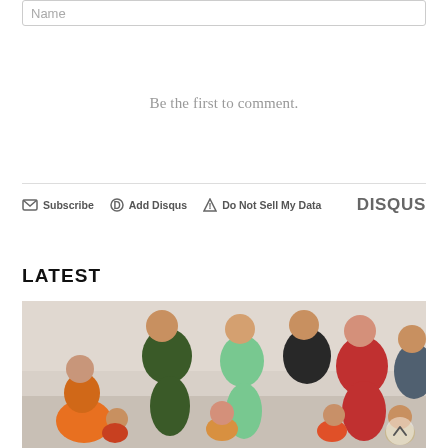Name
Be the first to comment.
Subscribe  Add Disqus  Do Not Sell My Data  DISQUS
LATEST
[Figure (photo): Group photo of adults and children in a classroom or activity room, several women bending over to assist young children, children appear to have disabilities, setting looks like a care or therapy facility in China]